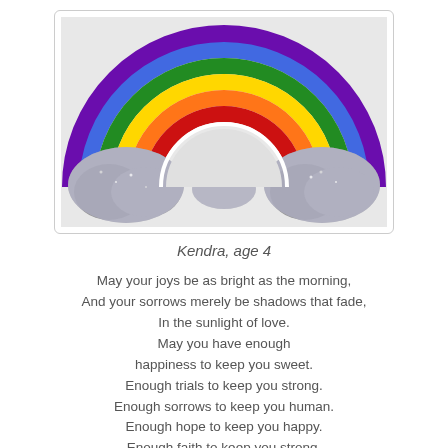[Figure (photo): A mosaic rainbow craft with glittery silver clouds on either side, made with colorful tiles in purple, green, yellow, orange, and red arcs on a light background.]
Kendra, age 4
May your joys be as bright as the morning,
And your sorrows merely be shadows that fade,
In the sunlight of love.
May you have enough
happiness to keep you sweet.
Enough trials to keep you strong.
Enough sorrows to keep you human.
Enough hope to keep you happy.
Enough faith to keep you strong.